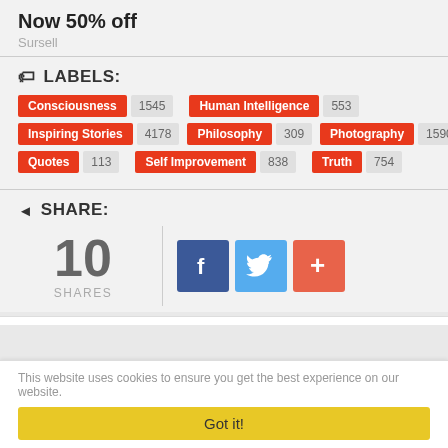Now 50% off
Sursell
LABELS:
Consciousness 1545
Human Intelligence 553
Inspiring Stories 4178
Philosophy 309
Photography 1590
Quotes 113
Self Improvement 838
Truth 754
SHARE:
10 SHARES
This website uses cookies to ensure you get the best experience on our website.
Got it!